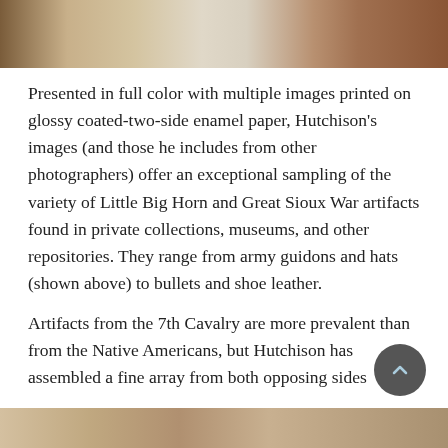[Figure (photo): Photograph showing Little Big Horn and Great Sioux War artifacts including leather pieces, tools, and an open book with text and images on a white background.]
Presented in full color with multiple images printed on glossy coated-two-side enamel paper, Hutchison's images (and those he includes from other photographers) offer an exceptional sampling of the variety of Little Big Horn and Great Sioux War artifacts found in private collections, museums, and other repositories. They range from army guidons and hats (shown above) to bullets and shoe leather.
Artifacts from the 7th Cavalry are more prevalent than from the Native Americans, but Hutchison has assembled a fine array from both opposing sides
[Figure (photo): Partial photograph visible at the bottom of the page showing artifacts or objects, cut off at the page edge.]